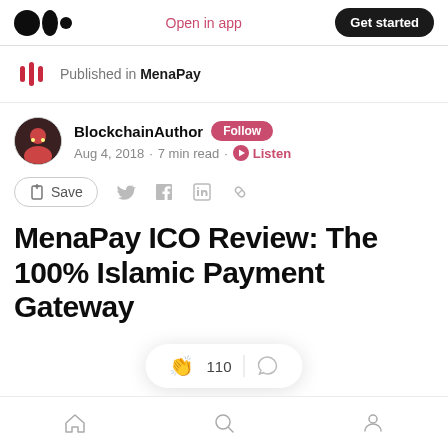Medium — Open in app | Get started
Published in MenaPay
BlockchainAuthor · Follow · Aug 4, 2018 · 7 min read · Listen
Save
MenaPay ICO Review: The 100% Islamic Payment Gateway
110 claps · Comments
Home · Search · Profile